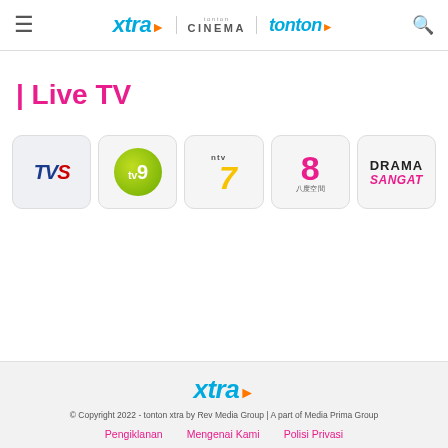xtra | tonton CINEMA | tonton
| Live TV
[Figure (logo): TVS channel logo]
[Figure (logo): TV9 channel logo]
[Figure (logo): NTV7 channel logo]
[Figure (logo): 8TV 八度空間 channel logo]
[Figure (logo): Drama Sangat channel logo]
xtra
© Copyright 2022 - tonton xtra by Rev Media Group | A part of Media Prima Group
Pengiklanan | Mengenai Kami | Polisi Privasi